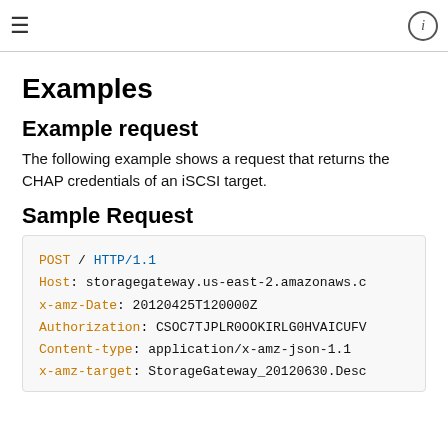≡  ℹ
Examples
Example request
The following example shows a request that returns the CHAP credentials of an iSCSI target.
Sample Request
POST / HTTP/1.1
Host: storagegateway.us-east-2.amazonaws.c
x-amz-Date: 20120425T120000Z
Authorization: CSOC7TJPLR0OOKIRLG0HVAICUFV
Content-type: application/x-amz-json-1.1
x-amz-target: StorageGateway_20120630.Desc